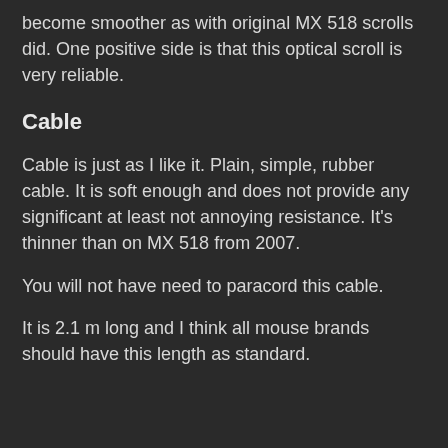become smoother as with original MX 518 scrolls did. One positive side is that this optical scroll is very reliable.
Cable
Cable is just as I like it. Plain, simple, rubber cable. It is soft enough and does not provide any significant at least not annoying resistance. It's thinner than on MX 518 from 2007.
You will not have need to paracord this cable.
It is 2.1 m long and I think all mouse brands should have this length as standard.